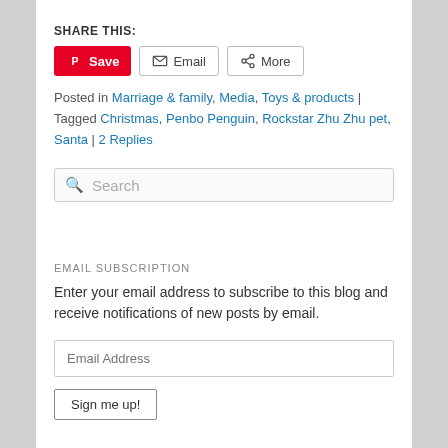SHARE THIS:
Save | Email | More (share buttons)
Posted in Marriage & family, Media, Toys & products | Tagged Christmas, Penbo Penguin, Rockstar Zhu Zhu pet, Santa | 2 Replies
Search
EMAIL SUBSCRIPTION
Enter your email address to subscribe to this blog and receive notifications of new posts by email.
Email Address
Sign me up!